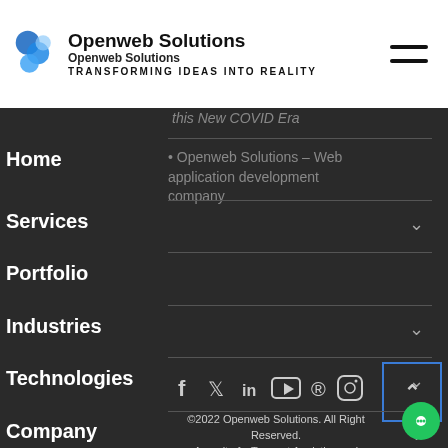[Figure (logo): Openweb Solutions logo with blue swirl icon and text 'Openweb Solutions - TRANSFORMING IDEAS INTO REALITY']
this New COVID Era
Openweb Solutions – Web application development company
Home
Services
Portfolio
Industries
Technologies
Company
Blog
Contact
©2022 Openweb Solutions. All Right Reserved.
An unit of πTangent Analytics and Technology Solutions Pvt. Ltd.
(CIN: U72200WB2017PTC223609)